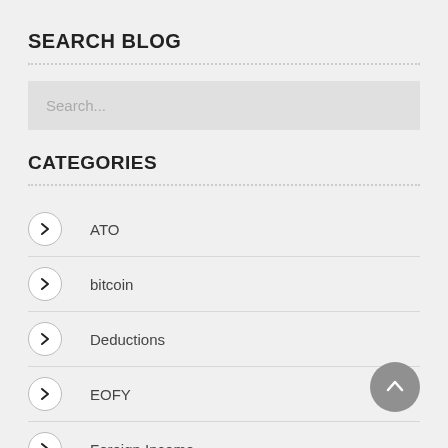SEARCH BLOG
[Figure (screenshot): Search input box with placeholder text 'Search...']
CATEGORIES
ATO
bitcoin
Deductions
EOFY
Foreign Income
GST
LRBA